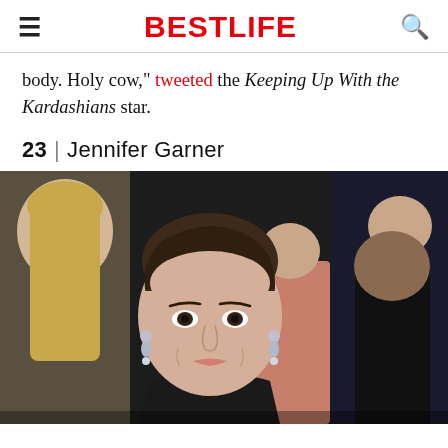BESTLIFE
body. Holy cow," tweeted the Keeping Up With the Kardashians star.
23 | Jennifer Garner
[Figure (photo): Jennifer Garner smiling at a red carpet event, wearing a black strapless gown and diamond earrings, with other attendees blurred in the background]